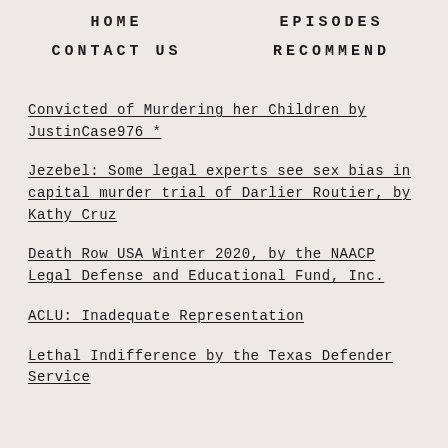HOME   EPISODES   CONTACT US   RECOMMEND
Convicted of Murdering her Children by JustinCase976 *
Jezebel: Some legal experts see sex bias in capital murder trial of Darlier Routier, by Kathy Cruz
Death Row USA Winter 2020, by the NAACP Legal Defense and Educational Fund, Inc.
ACLU: Inadequate Representation
Lethal Indifference by the Texas Defender Service